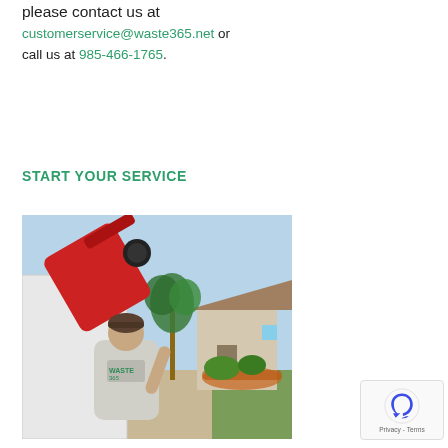please contact us at customerservice@waste365.net or call us at 985-466-1765.
START YOUR SERVICE
[Figure (photo): A Waste365 worker in uniform shirt emptying a red trash bin into a garbage truck, with palm trees and a suburban house in the background on a sunny day.]